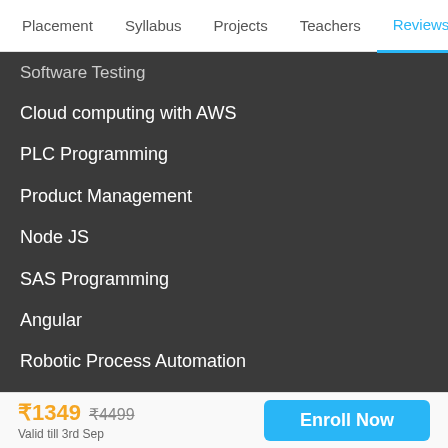Placement  Syllabus  Projects  Teachers  Reviews
Software Testing
Cloud computing with AWS
PLC Programming
Product Management
Node JS
SAS Programming
Angular
Robotic Process Automation
AR/VR
Git & GitHub
Voice App Development
How to Ace Coding Interviews
₹1349  ₹4499  Valid till 3rd Sep  Enroll Now